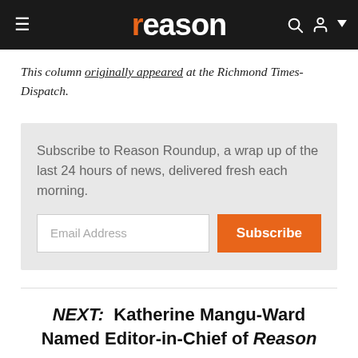reason
This column originally appeared at the Richmond Times-Dispatch.
Subscribe to Reason Roundup, a wrap up of the last 24 hours of news, delivered fresh each morning.
NEXT: Katherine Mangu-Ward Named Editor-in-Chief of Reason
A. BARTON HINKLE is senior editorial writer and a columnist at the